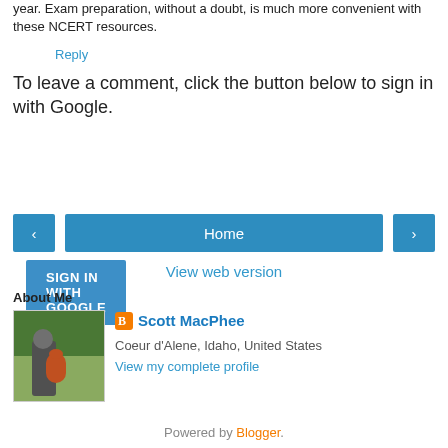year. Exam preparation, without a doubt, is much more convenient with these NCERT resources.
Reply
To leave a comment, click the button below to sign in with Google.
SIGN IN WITH GOOGLE
Home
View web version
About Me
[Figure (photo): Profile photo of Scott MacPhee showing a person outdoors with trees in background]
Scott MacPhee
Coeur d'Alene, Idaho, United States
View my complete profile
Powered by Blogger.